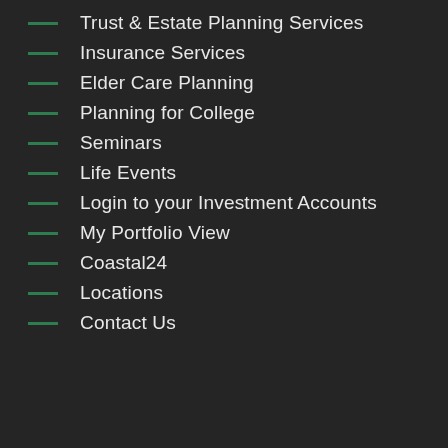Trust & Estate Planning Services
Insurance Services
Elder Care Planning
Planning for College
Seminars
Life Events
Login to your Investment Accounts
My Portfolio View
Coastal24
Locations
Contact Us